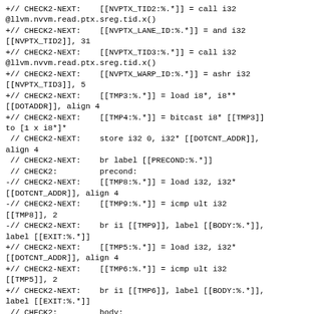+// CHECK2-NEXT:    [[NVPTX_TID2:%.*]] = call i32 @llvm.nvvm.read.ptx.sreg.tid.x()
+// CHECK2-NEXT:    [[NVPTX_LANE_ID:%.*]] = and i32 [[NVPTX_TID2]], 31
+// CHECK2-NEXT:    [[NVPTX_TID3:%.*]] = call i32 @llvm.nvvm.read.ptx.sreg.tid.x()
+// CHECK2-NEXT:    [[NVPTX_WARP_ID:%.*]] = ashr i32 [[NVPTX_TID3]], 5
+// CHECK2-NEXT:    [[TMP3:%.*]] = load i8*, i8** [[DOTADDR]], align 4
+// CHECK2-NEXT:    [[TMP4:%.*]] = bitcast i8* [[TMP3]] to [1 x i8*]*
 // CHECK2-NEXT:    store i32 0, i32* [[DOTCNT_ADDR]], align 4
 // CHECK2-NEXT:    br label [[PRECOND:%.*]]
 // CHECK2:         precond:
-// CHECK2-NEXT:    [[TMP8:%.*]] = load i32, i32* [[DOTCNT_ADDR]], align 4
-// CHECK2-NEXT:    [[TMP9:%.*]] = icmp ult i32 [[TMP8]], 2
-// CHECK2-NEXT:    br i1 [[TMP9]], label [[BODY:%.*]], label [[EXIT:%.*]]
+// CHECK2-NEXT:    [[TMP5:%.*]] = load i32, i32* [[DOTCNT_ADDR]], align 4
+// CHECK2-NEXT:    [[TMP6:%.*]] = icmp ult i32 [[TMP5]], 2
+// CHECK2-NEXT:    br i1 [[TMP6]], label [[BODY:%.*]], label [[EXIT:%.*]]
 // CHECK2:         body:
 // CHECK2-NEXT:    call void